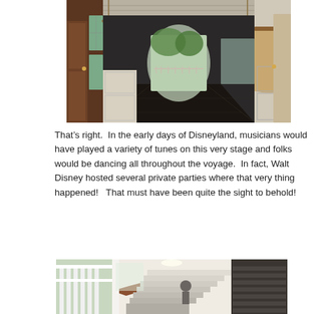[Figure (photo): Interior corridor of a riverboat or steamship, showing a long hallway with dark hardwood floors, white wainscoting walls, ornate chandeliers, large windows on both sides, and an open door at the far end revealing water and trees outside.]
That’s right.  In the early days of Disneyland, musicians would have played a variety of tunes on this very stage and folks would be dancing all throughout the voyage.  In fact, Walt Disney hosted several private parties where that very thing happened!   That must have been quite the sight to behold!
[Figure (photo): Interior staircase area of a riverboat, showing white painted railings, wooden banister, and stairs leading upward, with natural light coming through windows.]